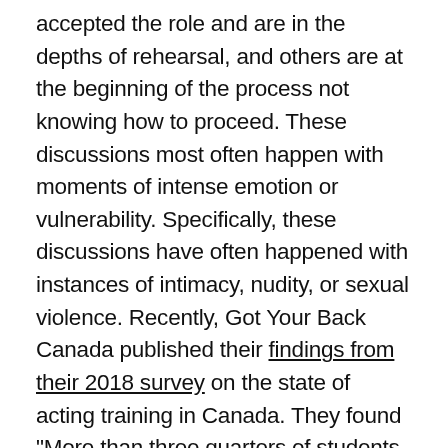accepted the role and are in the depths of rehearsal, and others are at the beginning of the process not knowing how to proceed. These discussions most often happen with moments of intense emotion or vulnerability. Specifically, these discussions have often happened with instances of intimacy, nudity, or sexual violence. Recently, Got Your Back Canada published their findings from their 2018 survey on the state of acting training in Canada. They found "More than three quarters of students reported being required to take part in scenes requiring kissing or physical intimacy, but less than one quarter of students felt they were able to opt out of these scenes."